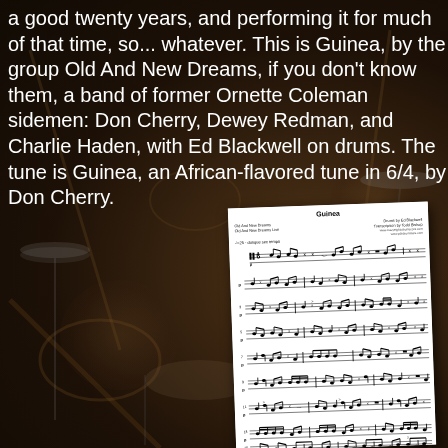a good twenty years, and performing it for much of that time, so... whatever. This is Guinea, by the group Old And New Dreams, if you don't know them, a band of former Ornette Coleman sidemen: Don Cherry, Dewey Redman, and Charlie Haden, with Ed Blackwell on drums. The tune is Guinea, an African-flavored tune in 6/4, by Don Cherry.
[Figure (illustration): Background photo of a drum kit in a dimly lit setting, dark warm tones. In the foreground, an overlaid white sheet of drum notation titled 'Guinea' by Ed Blackwell, transcribed by Todd Bishop, showing multiple systems of drum notation in 6/4 time.]